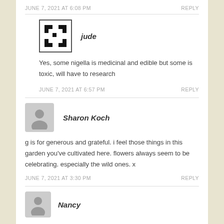JUNE 7, 2021 AT 6:08 PM
REPLY
[Figure (illustration): Black and white pixel/mosaic style avatar icon for user jude]
jude
Yes, some nigella is medicinal and edible but some is toxic, will have to research
JUNE 7, 2021 AT 6:57 PM
REPLY
[Figure (illustration): Gray silhouette avatar for Sharon Koch]
Sharon Koch
g is for generous and grateful. i feel those things in this garden you've cultivated here. flowers always seem to be celebrating. especially the wild ones. x
JUNE 7, 2021 AT 3:30 PM
REPLY
[Figure (illustration): Gray silhouette avatar for Nancy]
Nancy